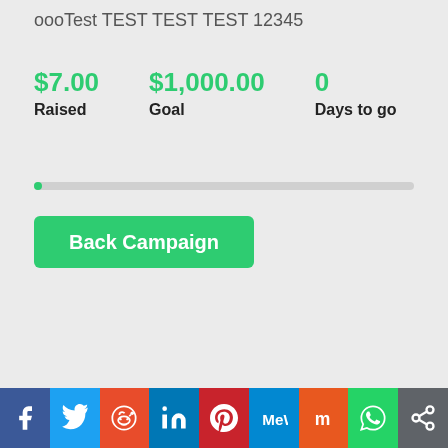oooTest TEST TEST TEST 12345
$7.00 Raised   $1,000.00 Goal   0 Days to go
[Figure (infographic): Progress bar showing campaign funding progress, mostly empty with a small green fill on the left]
Back Campaign
[Figure (infographic): Social sharing bar with icons: Facebook, Twitter, Reddit, LinkedIn, Pinterest, MeWe, Mix, WhatsApp, Share]